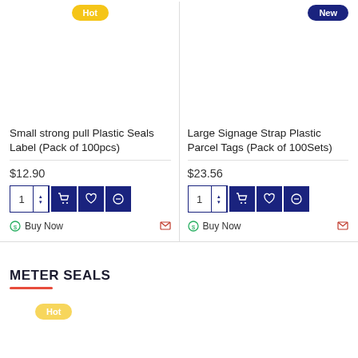[Figure (other): Product listing page with two product cards: 'Small strong pull Plastic Seals Label (Pack of 100pcs)' priced at $12.90 with a Hot badge, and 'Large Signage Strap Plastic Parcel Tags (Pack of 100Sets)' priced at $23.56 with a New badge. Below is a section header 'METER SEALS' with a red underline and a yellow Hot badge partially visible at the bottom.]
Small strong pull Plastic Seals Label (Pack of 100pcs)
$12.90
Large Signage Strap Plastic Parcel Tags (Pack of 100Sets)
$23.56
METER SEALS